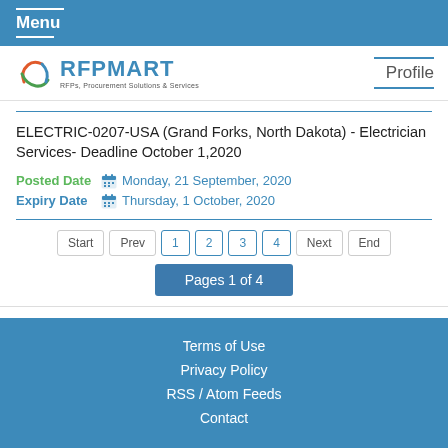Menu
[Figure (logo): RFPMART logo with swoosh icon and tagline: RFPs, Procurement Solutions & Services]
Profile
ELECTRIC-0207-USA (Grand Forks, North Dakota) - Electrician Services- Deadline October 1,2020
Posted Date  Monday, 21 September, 2020
Expiry Date  Thursday, 1 October, 2020
Start  Prev  1  2  3  4  Next  End
Pages 1 of 4
Terms of Use
Privacy Policy
RSS / Atom Feeds
Contact